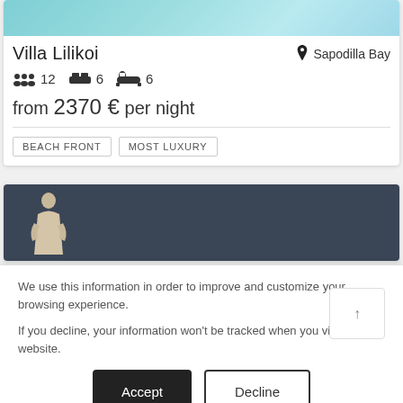[Figure (photo): Teal/turquoise water background top of villa card]
Villa Lilikoi
Sapodilla Bay
12 guests  6 bedrooms  6 bathrooms
from 2370 € per night
BEACH FRONT
MOST LUXURY
[Figure (photo): Dark blue-grey background with white statue figure on left side]
We use this information in order to improve and customize your browsing experience.
If you decline, your information won't be tracked when you visit this website.
Accept
Decline